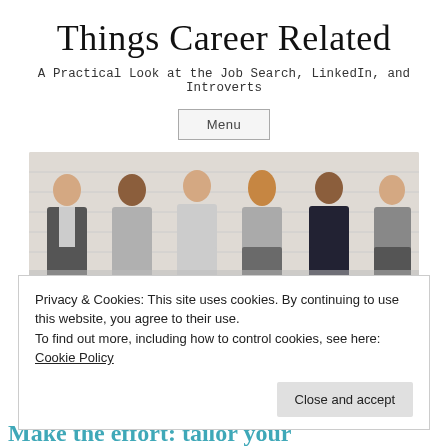Things Career Related
A Practical Look at the Job Search, LinkedIn, and Introverts
Menu
[Figure (photo): Group of six diverse professionals sitting in a row against a white brick wall, some holding tablets or folders, appearing to wait for a job interview.]
Privacy & Cookies: This site uses cookies. By continuing to use this website, you agree to their use.
To find out more, including how to control cookies, see here: Cookie Policy
Close and accept
Make the effort: tailor your